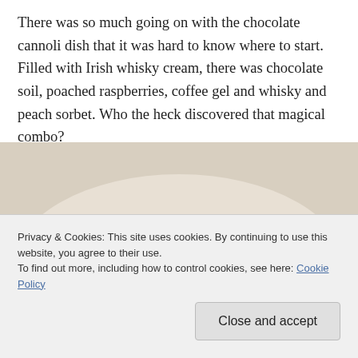There was so much going on with the chocolate cannoli dish that it was hard to know where to start. Filled with Irish whisky cream, there was chocolate soil, poached raspberries, coffee gel and whisky and peach sorbet. Who the heck discovered that magical combo?
[Figure (photo): A chocolate cannoli dessert on a white plate, with a scoop of pale sorbet/ice cream on the left and a dark chocolate cannoli tube on the right, with brown sauce/gel underneath and red raspberry elements visible.]
Privacy & Cookies: This site uses cookies. By continuing to use this website, you agree to their use.
To find out more, including how to control cookies, see here: Cookie Policy